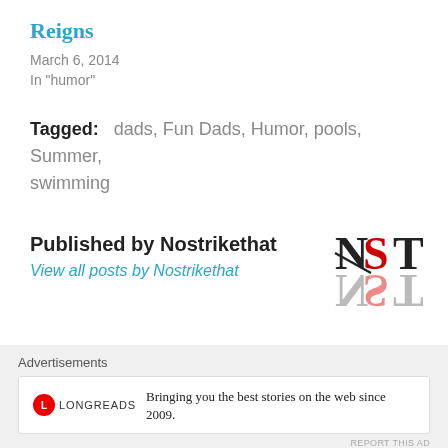Reigns
March 6, 2014
In "humor"
Tagged:  dads,  Fun Dads,  Humor,  pools,  Summer,  swimming
Published by Nostrikethat
View all posts by Nostrikethat
[Figure (logo): NST logo with N in black strikethrough, S in red, T in black, with mirror reflection below]
Advertisements
[Figure (logo): Longreads logo: red circle with L, followed by LONGREADS text]
Bringing you the best stories on the web since 2009.